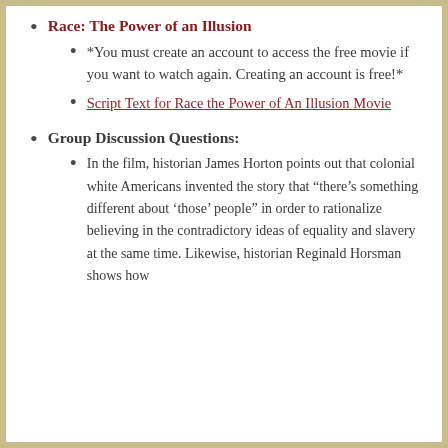Race: The Power of an Illusion
*You must create an account to access the free movie if you want to watch again. Creating an account is free!*
Script Text for Race the Power of An Illusion Movie
Group Discussion Questions:
In the film, historian James Horton points out that colonial white Americans invented the story that “there’s something different about ‘those’ people” in order to rationalize believing in the contradictory ideas of equality and slavery at the same time. Likewise, historian Reginald Horsman shows how